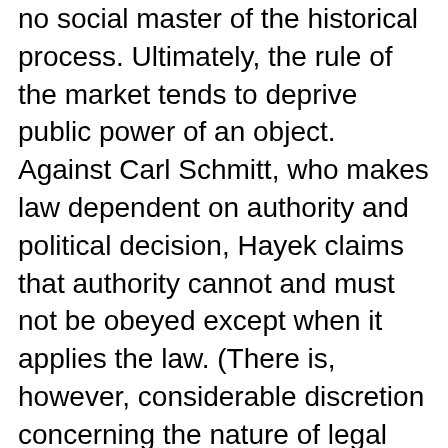no social master of the historical process. Ultimately, the rule of the market tends to deprive public power of an object. Against Carl Schmitt, who makes law dependent on authority and political decision, Hayek claims that authority cannot and must not be obeyed except when it applies the law. (There is, however, considerable discretion concerning the nature of legal obligation). At the same time, against Hans Kelsen’s legal positivism, which identifies norms (loi) with the legislator’s decision and as the essential source of law (droit) and justice, he declares that law has always existed — before